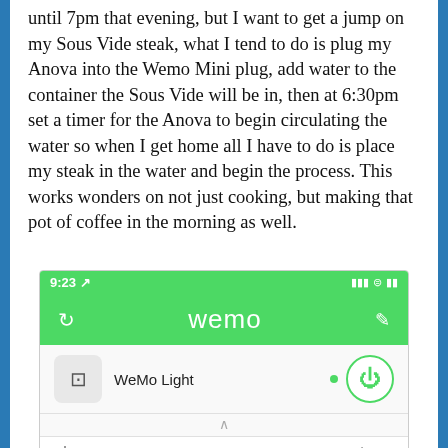until 7pm that evening, but I want to get a jump on my Sous Vide steak, what I tend to do is plug my Anova into the Wemo Mini plug, add water to the container the Sous Vide will be in, then at 6:30pm set a timer for the Anova to begin circulating the water so when I get home all I have to do is place my steak in the water and begin the process. This works wonders on not just cooking, but making that pot of coffee in the morning as well.
[Figure (screenshot): Screenshot of the Wemo app showing a WeMo Light device with a power button, and a timer display showing 'On now for: 22' and 'Since: 9:22']